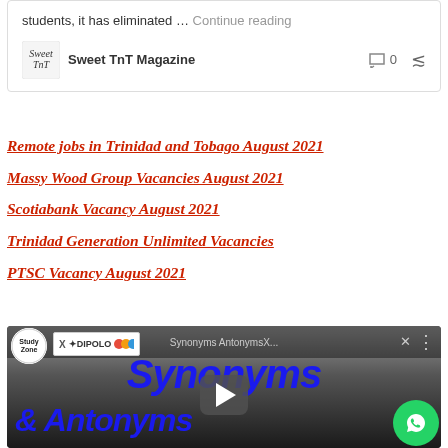students, it has eliminated … Continue reading
Sweet TnT Magazine  0
Remote jobs in Trinidad and Tobago August 2021
Massy Wood Group Vacancies August 2021
Scotiabank Vacancy August 2021
Trinidad Generation Unlimited Vacancies
PTSC Vacancy August 2021
[Figure (screenshot): YouTube video thumbnail showing 'Synonyms & Antonyms' educational video with Study Zone logo, ad overlay, and play button. Blue bold italic text reads 'Synonyms' and '& Antonyms' on dark background.]